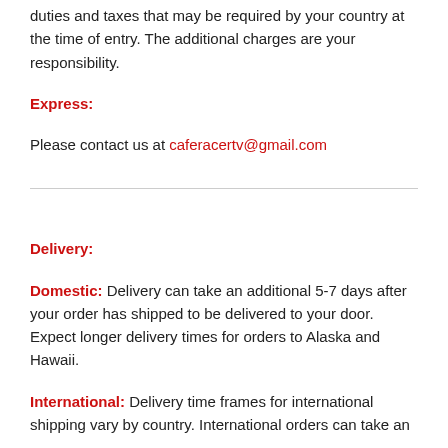duties and taxes that may be required by your country at the time of entry. The additional charges are your responsibility.
Express:
Please contact us at caferacertv@gmail.com
Delivery:
Domestic: Delivery can take an additional 5-7 days after your order has shipped to be delivered to your door. Expect longer delivery times for orders to Alaska and Hawaii.
International: Delivery time frames for international shipping vary by country. International orders can take an